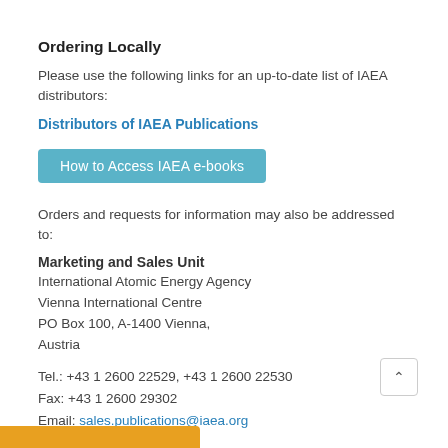Ordering Locally
Please use the following links for an up-to-date list of IAEA distributors:
Distributors of IAEA Publications
[Figure (other): Teal button labeled 'How to Access IAEA e-books']
Orders and requests for information may also be addressed to:
Marketing and Sales Unit
International Atomic Energy Agency
Vienna International Centre
PO Box 100, A-1400 Vienna,
Austria
Tel.: +43 1 2600 22529, +43 1 2600 22530
Fax: +43 1 2600 29302
Email: sales.publications@iaea.org